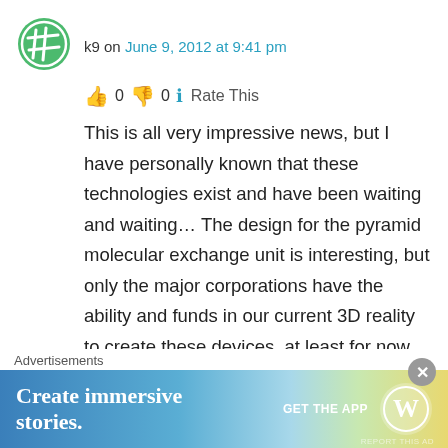[Figure (logo): Green circular avatar/logo with a hashtag-like grid symbol]
k9 on June 9, 2012 at 9:41 pm
👍 0 👎 0 ℹ Rate This
This is all very impressive news, but I have personally known that these technologies exist and have been waiting and waiting… The design for the pyramid molecular exchange unit is interesting, but only the major corporations have the ability and funds in our current 3D reality to create these devices, at least for now… How about some simplified designs that anybody with a little electrical experience can create with common and easily obtainable materials? Is this
Advertisements
[Figure (screenshot): WordPress advertisement banner: 'Create immersive stories.' with GET THE APP button and WordPress logo]